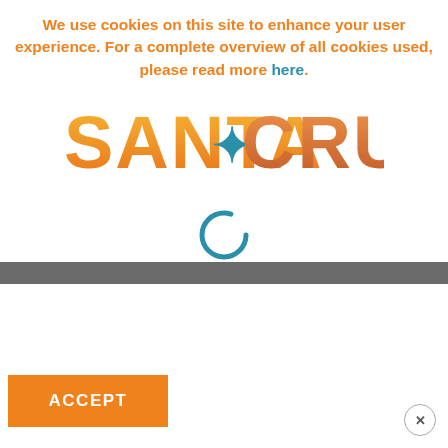[Figure (logo): Santa Cruz logo with orange gradient text 'SANTA' and 'CRUZ' and a teal/blue starfish asterisk in the middle]
[Figure (other): Teal circular loading spinner (partial circle arc)]
We use cookies on this site to enhance your user experience. For a complete overview of all cookies used, please read more here.
ACCEPT